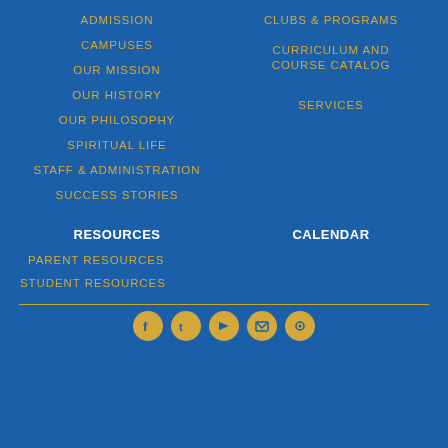ADMISSION
CLUBS & PROGRAMS
CAMPUSES
CURRICULUM AND COURSE CATALOG
OUR MISSION
SERVICES
OUR HISTORY
OUR PHILOSOPHY
SPIRITUAL LIFE
STAFF & ADMINISTRATION
SUCCESS STORIES
RESOURCES
CALENDAR
PARENT RESOURCES
STUDENT RESOURCES
[Figure (illustration): Social media icons row: Facebook, Twitter/X, YouTube, email/envelope, and another icon, all gold circles on blue background]